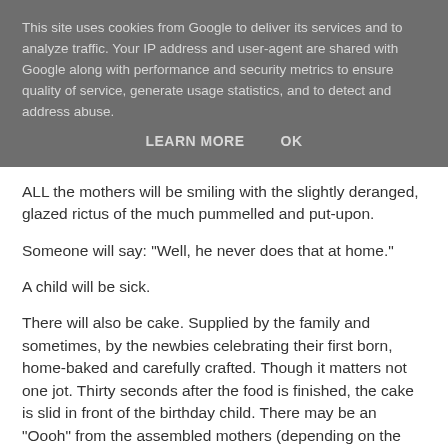This site uses cookies from Google to deliver its services and to analyze traffic. Your IP address and user-agent are shared with Google along with performance and security metrics to ensure quality of service, generate usage statistics, and to detect and address abuse.
LEARN MORE   OK
ALL the mothers will be smiling with the slightly deranged, glazed rictus of the much pummelled and put-upon.
Someone will say: "Well, he never does that at home."
A child will be sick.
There will also be cake. Supplied by the family and sometimes, by the newbies celebrating their first born, home-baked and carefully crafted. Though it matters not one jot. Thirty seconds after the food is finished, the cake is slid in front of the birthday child. There may be an "Oooh" from the assembled mothers (depending on the elaborateness of the